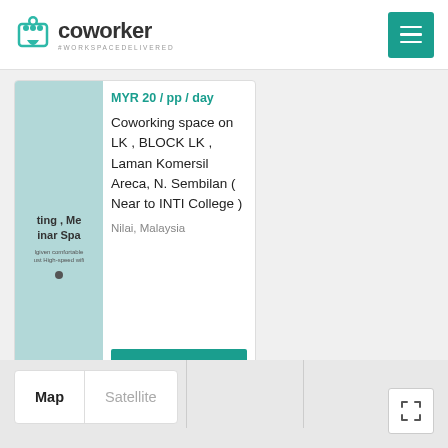coworker #WORKSPACEDELIVERED
MYR 20 / pp / day
Coworking space on LK , BLOCK LK , Laman Komersil Areca, N. Sembilan ( Near to INTI College )
Nilai, Malaysia
ENQUIRE NOW
View All Spaces in Nilai ▶
Map   Satellite